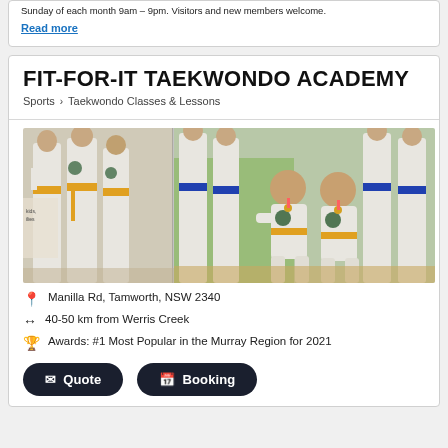Sunday of each month 9am – 9pm. Visitors and new members welcome.
Read more
FIT-FOR-IT TAEKWONDO ACADEMY
Sports > Taekwondo Classes & Lessons
[Figure (photo): Group photo of taekwondo students in white uniforms with yellow and blue belts, two young girls kneeling in front wearing medals]
Manilla Rd, Tamworth, NSW 2340
40-50 km from Werris Creek
Awards: #1 Most Popular in the Murray Region for 2021
Quote
Booking